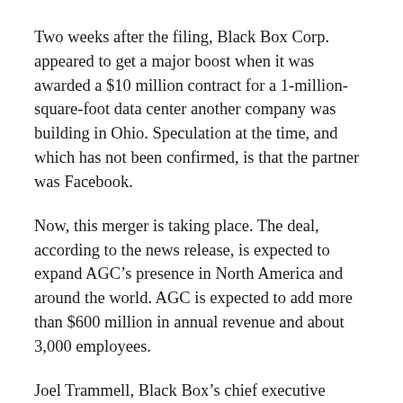Two weeks after the filing, Black Box Corp. appeared to get a major boost when it was awarded a $10 million contract for a 1-million-square-foot data center another company was building in Ohio. Speculation at the time, and which has not been confirmed, is that the partner was Facebook.
Now, this merger is taking place. The deal, according to the news release, is expected to expand AGC's presence in North America and around the world. AGC is expected to add more than $600 million in annual revenue and about 3,000 employees.
Joel Trammell, Black Box's chief executive officer, said in a statement: “We were looking for a partner that could provide us with the resources to grow our services and products businesses in a way that benefited clients and employees.
“As we visited in depth with the AGC team, it became obvious that the fit was very strong and that the combination would make our company more…